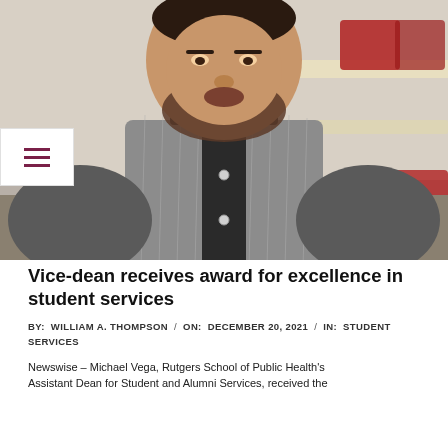[Figure (photo): A man with a beard wearing a gray pinstripe vest over a dark gray long-sleeve shirt, standing in front of chairs and a table in what appears to be a classroom or office space. A hamburger menu icon (three horizontal lines in dark pink/maroon) is overlaid on the lower-left corner of the photo in a white box.]
Vice-dean receives award for excellence in student services
BY: WILLIAM A. THOMPSON / ON: DECEMBER 20, 2021 / IN: STUDENT SERVICES
Newswise – Michael Vega, Rutgers School of Public Health's Assistant Dean for Student and Alumni Services, received the